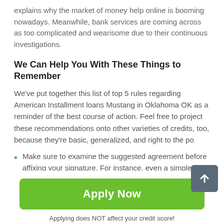explains why the market of money help online is booming nowadays. Meanwhile, bank services are coming across as too complicated and wearisome due to their continuous investigations.
We Can Help You With These Things to Remember
We've put together this list of top 5 rules regarding American Installment loans Mustang in Oklahoma OK as a reminder of the best course of action. Feel free to project these recommendations onto other varieties of credits, too, because they're basic, generalized, and right to the po
Make sure to examine the suggested agreement before affixing your signature. For instance, even a simple tick
[Figure (other): Green 'Apply Now' button]
Applying does NOT affect your credit score!
No credit check to apply.